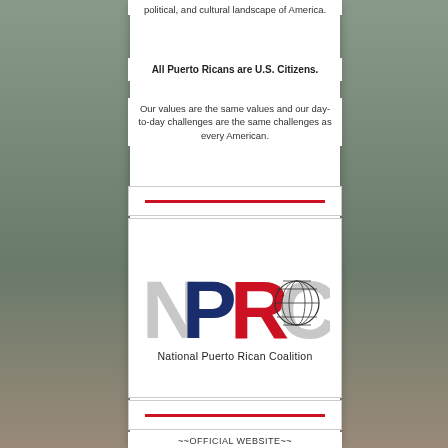political, and cultural landscape of America.
All Puerto Ricans are U.S. Citizens.
Our values are the same values and our day-to-day challenges are the same challenges as every American.
[Figure (logo): NPRC logo - National Puerto Rican Coalition with globe symbol]
~~OFFICIAL WEBSITE~~